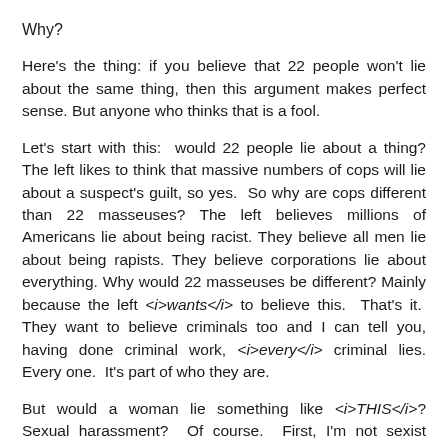Why?
Here's the thing: if you believe that 22 people won't lie about the same thing, then this argument makes perfect sense. But anyone who thinks that is a fool.
Let's start with this:  would 22 people lie about a thing? The left likes to think that massive numbers of cops will lie about a suspect's guilt, so yes.  So why are cops different than 22 masseuses? The left believes millions of Americans lie about being racist. They believe all men lie about being rapists. They believe corporations lie about everything. Why would 22 masseuses be different? Mainly because the left <i>wants</i> to believe this.  That's it.  They want to believe criminals too and I can tell you, having done criminal work, <i>every</i> criminal lies. Every one.  It's part of who they are.
But would a woman lie something like <i>THIS</i>? Sexual harassment?  Of course.  First, I'm not sexist enough to think that women are incapable of lying and I'm not Victorian enough to think they are unwilling. When a lie is told...